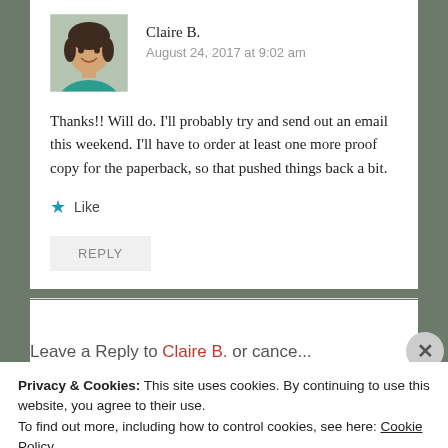[Figure (photo): Profile photo of Claire B., a young woman smiling, wearing a teal/green top, with a neutral background. Square thumbnail image.]
Claire B.
August 24, 2017 at 9:02 am
Thanks!! Will do. I’ll probably try and send out an email this weekend. I’ll have to order at least one more proof copy for the paperback, so that pushed things back a bit.
★ Like
REPLY
Leave a Reply to Claire B. or cancel...
Privacy & Cookies: This site uses cookies. By continuing to use this website, you agree to their use.
To find out more, including how to control cookies, see here: Cookie Policy
Close and accept